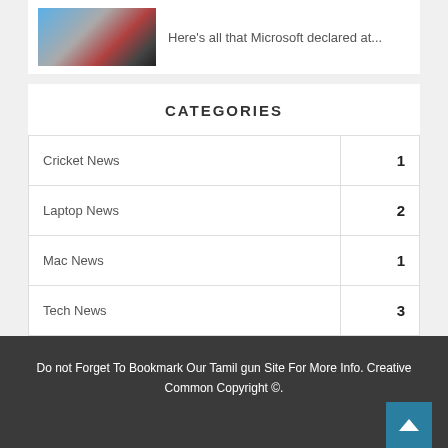Here's all that Microsoft declared at...
CATEGORIES
| Category | Count |
| --- | --- |
| Cricket News | 1 |
| Laptop News | 2 |
| Mac News | 1 |
| Tech News | 3 |
Do not Forget To Bookmark Our Tamil gun Site For More Info. Creative Common Copyright ©.